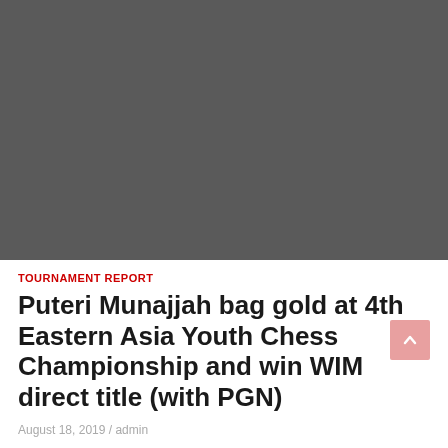[Figure (photo): Dark gray rectangular image placeholder, likely a chess-related photo]
TOURNAMENT REPORT
Puteri Munajjah bag gold at 4th Eastern Asia Youth Chess Championship and win WIM direct title (with PGN)
August 18, 2019 / admin